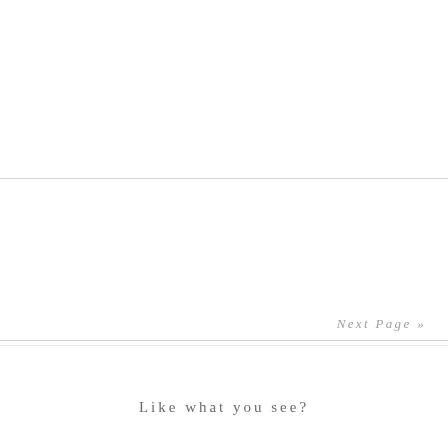Next Page »
Like what you see?